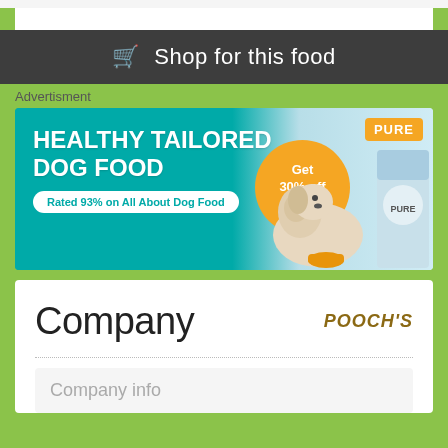[Figure (screenshot): Dark gray bar with shopping cart icon and 'Shop for this food' text in white]
Advertisment
[Figure (illustration): Advertisement banner for Pure dog food. Teal background with text 'HEALTHY TAILORED DOG FOOD', orange circle saying 'Get 30% off today', white pill badge 'Rated 93% on All About Dog Food', dog eating from bowl, Pure branded bag.]
Company
[Figure (logo): POOCH'S logo in brown/gold italic bold text]
Company info